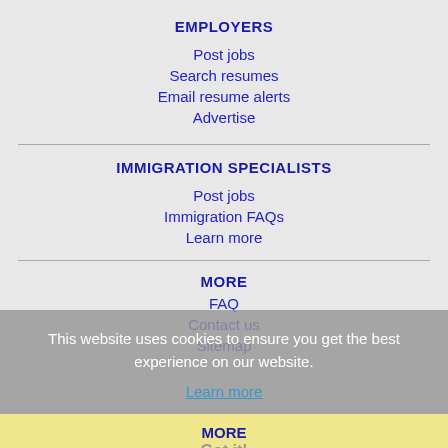EMPLOYERS
Post jobs
Search resumes
Email resume alerts
Advertise
IMMIGRATION SPECIALISTS
Post jobs
Immigration FAQs
Learn more
This website uses cookies to ensure you get the best experience on our website.
Learn more
Got it!
MORE
FAQ
Contact us
Sitemap